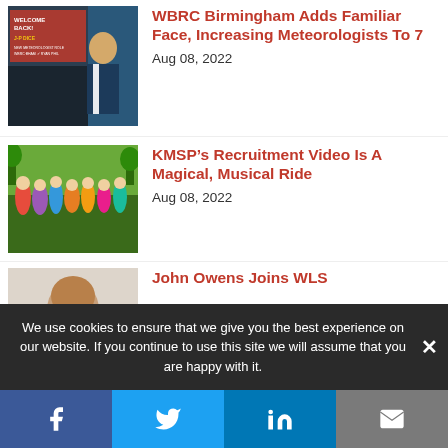[Figure (photo): TV news broadcast still showing 'Welcome Back! J-P Dice' graphic with a man in a suit]
WBRC Birmingham Adds Familiar Face, Increasing Meteorologists To 7
Aug 08, 2022
[Figure (photo): Group photo of people in colorful costumes outdoors]
KMSP’s Recruitment Video Is A Magical, Musical Ride
Aug 08, 2022
[Figure (photo): Headshot of a man against a light background]
John Owens Joins WLS
We use cookies to ensure that we give you the best experience on our website. If you continue to use this site we will assume that you are happy with it.